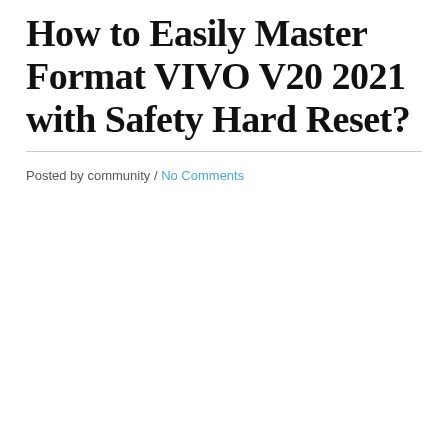How to Easily Master Format VIVO V20 2021 with Safety Hard Reset?
Posted by community / No Comments